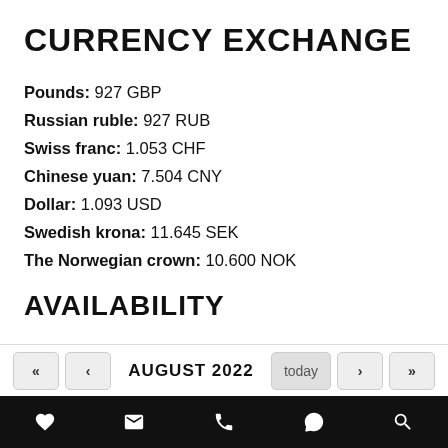CURRENCY EXCHANGE
Pounds: 927 GBP
Russian ruble: 927 RUB
Swiss franc: 1.053 CHF
Chinese yuan: 7.504 CNY
Dollar: 1.093 USD
Swedish krona: 11.645 SEK
The Norwegian crown: 10.600 NOK
AVAILABILITY
AUGUST 2022
Navigation icons: heart, email, phone, WhatsApp, search